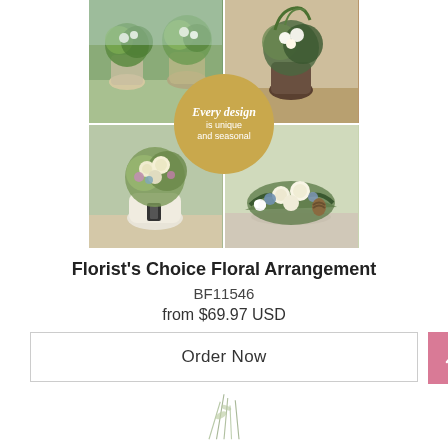[Figure (photo): Collage of four floral arrangement photos with a gold circular badge overlay reading 'Every design is unique and seasonal']
Florist's Choice Floral Arrangement
BF11546
from $69.97 USD
Order Now
[Figure (photo): Partial view of a floral arrangement with stems visible at the bottom of the page]